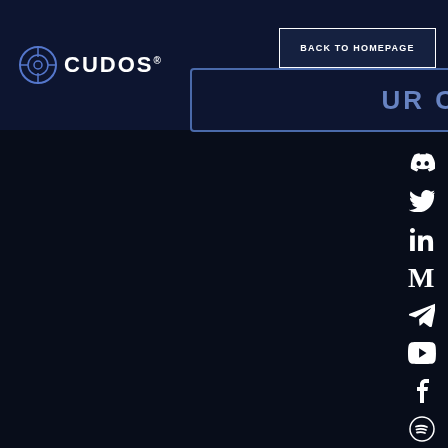[Figure (logo): Cudos logo with circular target icon and CUDOS® wordmark in white on dark navy background]
JOIN OUR COMMUNITY
BACK TO HOMEPAGE
[Figure (infographic): Social media icons column on right side: Discord, Twitter, LinkedIn, Medium, Telegram, YouTube, Facebook, Spotify]